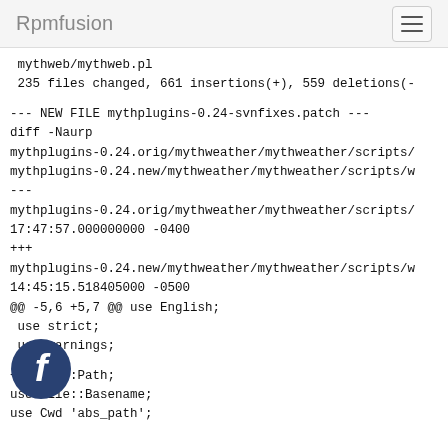Rpmfusion
mythweb/mythweb.pl
 235 files changed, 661 insertions(+), 559 deletions(-

--- NEW FILE mythplugins-0.24-svnfixes.patch ---
diff -Naurp
mythplugins-0.24.orig/mythweather/mythweather/scripts/
mythplugins-0.24.new/mythweather/mythweather/scripts/w
---
mythplugins-0.24.orig/mythweather/mythweather/scripts/
17:47:57.000000000 -0400
+++
mythplugins-0.24.new/mythweather/mythweather/scripts/w
14:45:15.518405000 -0500
@@ -5,6 +5,7 @@ use English;
 use strict;
 use warnings;

+use File::Path;
use File::Basename;
use Cwd 'abs_path';